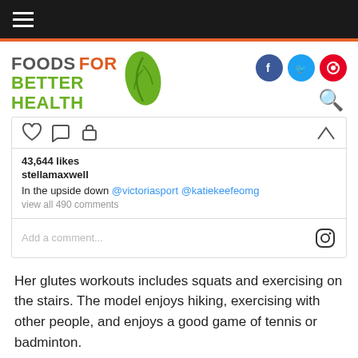Foods For Better Health
[Figure (screenshot): Instagram post screenshot showing 43,644 likes, username stellamaxwell, caption 'In the upside down @victoriasport @katiekeefeomg', view all 490 comments, and Add a comment field]
Her glutes workouts includes squats and exercising on the stairs. The model enjoys hiking, exercising with other people, and enjoys a good game of tennis or badminton.